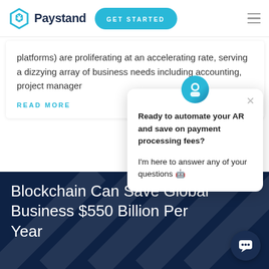[Figure (logo): Paystand logo with hexagonal icon and 'Paystand' wordmark, GET STARTED button, and hamburger menu]
platforms) are proliferating at an accelerating rate, serving a dizzying array of business needs including accounting, project manager
READ MORE
[Figure (screenshot): Chatbot popup with avatar: 'Ready to automate your AR and save on payment processing fees? I'm here to answer any of your questions 🤖']
Blockchain Can Save Global Business $550 Billion Per Year